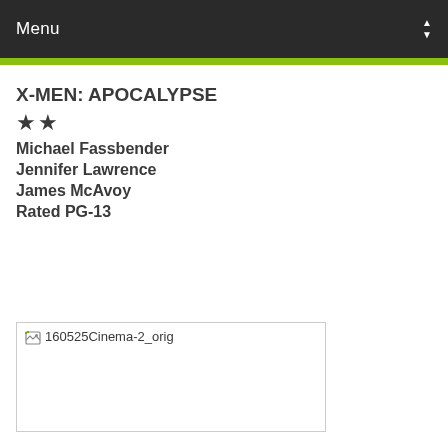Menu
X-MEN: APOCALYPSE
★★
Michael Fassbender
Jennifer Lawrence
James McAvoy
Rated PG-13
[Figure (photo): Broken image placeholder showing alt text '160525Cinema-2_orig']